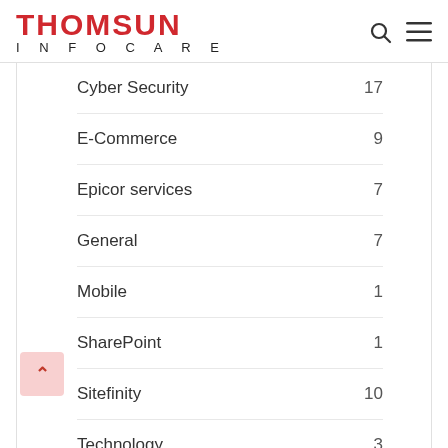THOMSUN INFOCARE
Cyber Security  17
E-Commerce  9
Epicor services  7
General  7
Mobile  1
SharePoint  1
Sitefinity  10
Technology  3